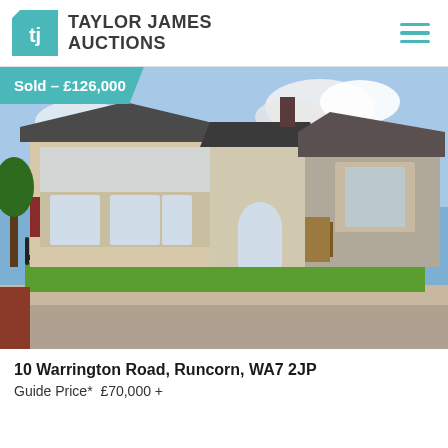[Figure (logo): Taylor James Auctions logo with teal square icon containing 'tj' letters]
[Figure (photo): Exterior photo of a semi-detached house at 10 Warrington Road, Runcorn, WA7 2JP. Red brick and render facade with bay windows, arched front door, black iron fence, green lawn. Sold for £126,000.]
Sold - £126,000
10 Warrington Road, Runcorn, WA7 2JP
Guide Price*  £70,000 +